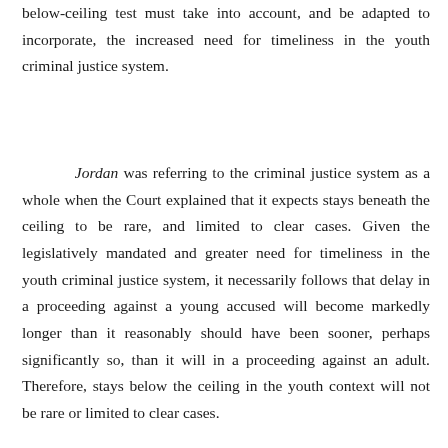below-ceiling test must take into account, and be adapted to incorporate, the increased need for timeliness in the youth criminal justice system.
Jordan was referring to the criminal justice system as a whole when the Court explained that it expects stays beneath the ceiling to be rare, and limited to clear cases. Given the legislatively mandated and greater need for timeliness in the youth criminal justice system, it necessarily follows that delay in a proceeding against a young accused will become markedly longer than it reasonably should have been sooner, perhaps significantly so, than it will in a proceeding against an adult. Therefore, stays below the ceiling in the youth context will not be rare or limited to clear cases.